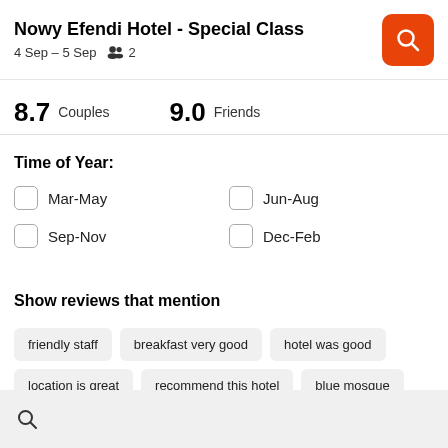Nowy Efendi Hotel - Special Class
4 Sep – 5 Sep   2
8.7 Couples   9.0 Friends
Time of Year:
Mar-May
Jun-Aug
Sep-Nov
Dec-Feb
Show reviews that mention
friendly staff
breakfast very good
hotel was good
location is great
recommend this hotel
blue mosque